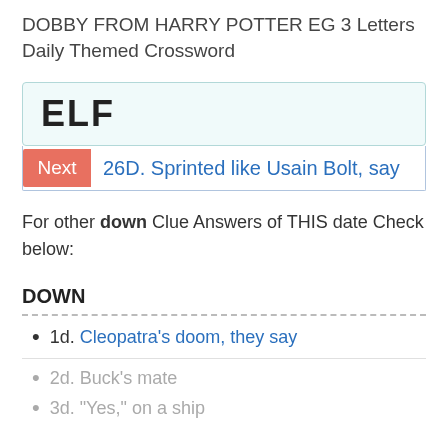DOBBY FROM HARRY POTTER EG 3 Letters
Daily Themed Crossword
ELF
Next  26D. Sprinted like Usain Bolt, say
For other down Clue Answers of THIS date Check below:
DOWN
1d. Cleopatra's doom, they say
2d. Buck's mate
3d. "Yes," on a ship